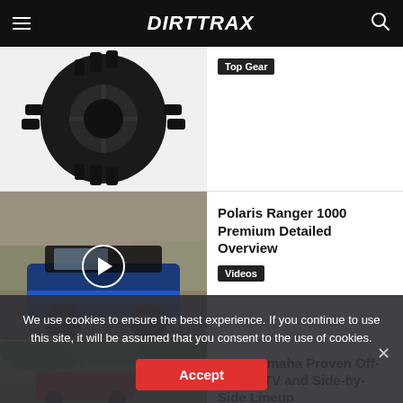DIRTTRAX
[Figure (photo): Close-up of an ATV/UTV off-road tire with aggressive tread pattern mounted on a black wheel]
Top Gear
[Figure (photo): Polaris Ranger 1000 Premium side-by-side UTV parked on a dirt trail with a play button overlay indicating a video]
Polaris Ranger 1000 Premium Detailed Overview
Videos
[Figure (photo): 2023 Yamaha off-road ATV/side-by-side partially visible, green foliage background]
2023 Yamaha Proven Off-Road ATV and Side-by-Side Lineup
We use cookies to ensure the best experience. If you continue to use this site, it will be assumed that you consent to the use of cookies.
Accept